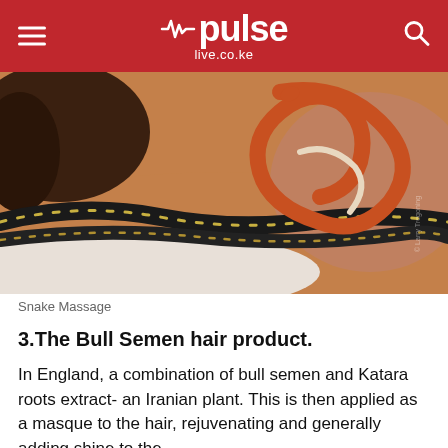pulse live.co.ke
[Figure (photo): A person lying face down receiving a snake massage, with multiple snakes (including a reddish-orange corn snake and black-striped garter snakes) draped across their back and shoulders.]
Snake Massage
3.The Bull Semen hair product.
In England, a combination of bull semen and Katara roots extract- an Iranian plant. This is then applied as a masque to the hair, rejuvenating and generally adding shine to the